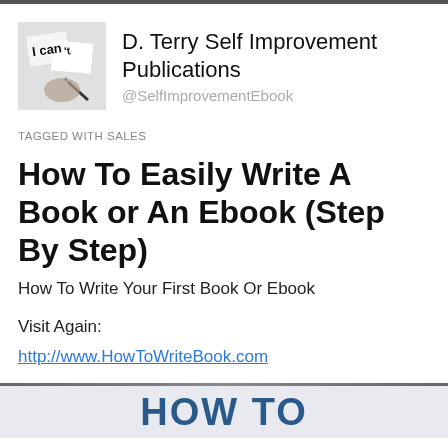[Figure (photo): Profile photo showing a hand holding a torn paper reading 'I can't' with a pen, black and white image]
D. Terry Self Improvement Publications
@SelfImprovementEbook
TAGGED WITH SALES
How To Easily Write A Book or An Ebook (Step By Step)
How To Write Your First Book Or Ebook
Visit Again:
http://www.HowToWriteBook.com
[Figure (screenshot): Partial bottom banner showing 'HOW TO' text in large teal/blue bold letters on a light background]